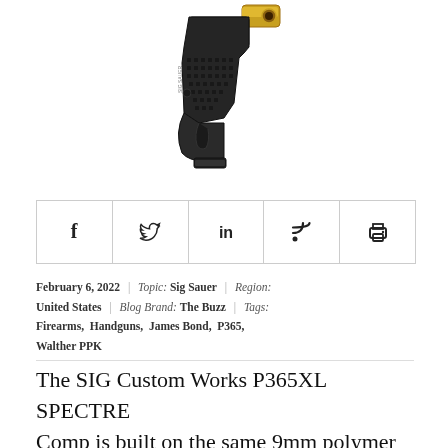[Figure (photo): Close-up photograph of a SIG Sauer P365XL SPECTRE Comp pistol grip and barrel area, showing textured black polymer grip and gold-colored barrel muzzle/compensator, on white background.]
| f | 𝕐 (Twitter) | in | RSS | Print |
February 6, 2022  |  Topic: Sig Sauer  |  Region: United States  |  Blog Brand: The Buzz  |  Tags: Firearms,  Handguns,  James Bond,  P365,  Walther PPK
The SIG Custom Works P365XL SPECTRE Comp is built on the same 9mm polymer